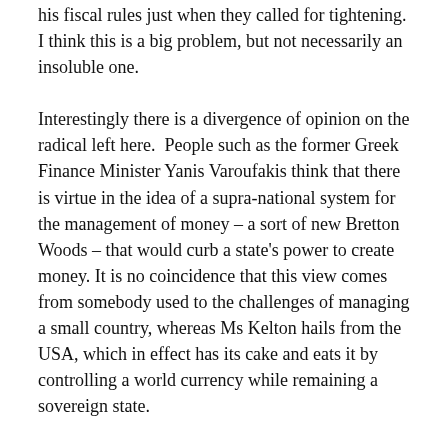his fiscal rules just when they called for tightening. I think this is a big problem, but not necessarily an insoluble one.
Interestingly there is a divergence of opinion on the radical left here.  People such as the former Greek Finance Minister Yanis Varoufakis think that there is virtue in the idea of a supra-national system for the management of money – a sort of new Bretton Woods – that would curb a state's power to create money. It is no coincidence that this view comes from somebody used to the challenges of managing a small country, whereas Ms Kelton hails from the USA, which in effect has its cake and eats it by controlling a world currency while remaining a sovereign state.
There are some further ideas important to the construction of neo-chartalist policy: